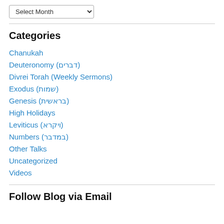Select Month
Categories
Chanukah
Deuteronomy (דברים)
Divrei Torah (Weekly Sermons)
Exodus (שמות)
Genesis (בראשית)
High Holidays
Leviticus (ויקרא)
Numbers (במדבר)
Other Talks
Uncategorized
Videos
Follow Blog via Email